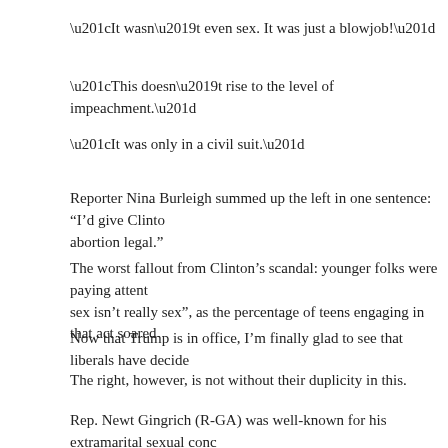“It wasn’t even sex. It was just a blowjob!”
“This doesn’t rise to the level of impeachment.”
“It was only in a civil suit.”
Reporter Nina Burleigh summed up the left in one sentence: “I’d give Clinto... abortion legal.”
The worst fallout from Clinton’s scandal: younger folks were paying attent... sex isn’t really sex”, as the percentage of teens engaging in that act soared...
Now that Trump is in office, I’m finally glad to see that liberals have decide...
The right, however, is not without their duplicity in this.
Rep. Newt Gingrich (R-GA) was well-known for his extramarital sexual conc... of Representatives from making him their Speaker.
And make no mistake: that choice of Gingrich for Speaker was indeed fate... President during the Monica scandal, as his own baggage was similar to C...
Character didn’t matter to Republicans then, so they were in no position to... Clinton’s scandals blew up.
Other prominent Republicans had their affairs and/or perversions come...